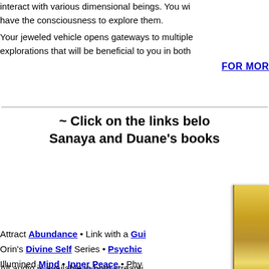interact with various dimensional beings. You will have the consciousness to explore them.
Your jeweled vehicle opens gateways to multiple explorations that will be beneficial to you in both
FOR MORE
~ Click on the links belo Sanaya and Duane's books
[Figure (photo): Book cover with gold/yellow spine visible on right edge]
Attract Abundance • Link with a Gui Orin's Divine Self Series • Psychic Illumined Mind • Inner Peace • Phy Will  Single MP3 guided meditatio
All audio is available in both streami